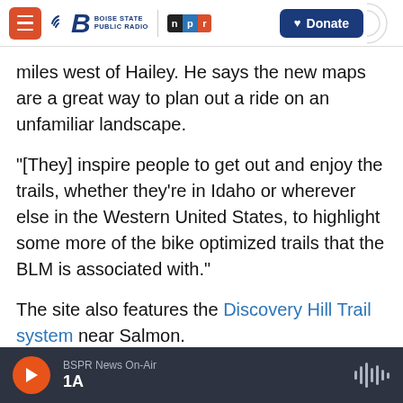Boise State Public Radio | NPR | Donate
miles west of Hailey. He says the new maps are a great way to plan out a ride on an unfamiliar landscape.
“[They] inspire people to get out and enjoy the trails, whether they’re in Idaho or wherever else in the Western United States, to highlight some more of the bike optimized trails that the BLM is associated with.”
The site also features the Discovery Hill Trail system near Salmon.
Kurtz says the maps include trail descriptions
BSPR News On-Air
1A